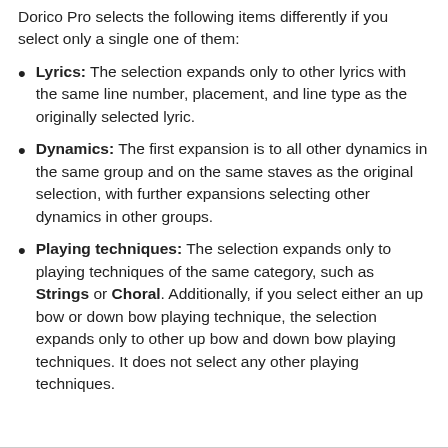Dorico Pro selects the following items differently if you select only a single one of them:
Lyrics: The selection expands only to other lyrics with the same line number, placement, and line type as the originally selected lyric.
Dynamics: The first expansion is to all other dynamics in the same group and on the same staves as the original selection, with further expansions selecting other dynamics in other groups.
Playing techniques: The selection expands only to playing techniques of the same category, such as Strings or Choral. Additionally, if you select either an up bow or down bow playing technique, the selection expands only to other up bow and down bow playing techniques. It does not select any other playing techniques.